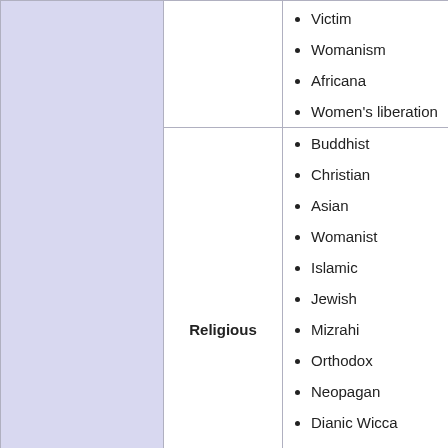Victim
Womanism
Africana
Women's liberation
Buddhist
Christian
Asian
Womanist
Islamic
Jewish
Mizrahi
Orthodox
Neopagan
Dianic Wicca
Reclaiming
Mormon
Sikh
Religious